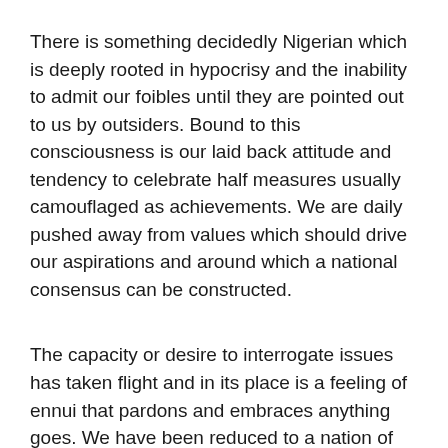There is something decidedly Nigerian which is deeply rooted in hypocrisy and the inability to admit our foibles until they are pointed out to us by outsiders. Bound to this consciousness is our laid back attitude and tendency to celebrate half measures usually camouflaged as achievements. We are daily pushed away from values which should drive our aspirations and around which a national consensus can be constructed.
The capacity or desire to interrogate issues has taken flight and in its place is a feeling of ennui that pardons and embraces anything goes. We have been reduced to a nation of “forgive and forget” or “leave everything to God”. These are the reasons we have fallen into the cesspit from which we are struggling to exit in vain. Everybody seems to be involved in a rat race to the extent that we neither see no hear evil.